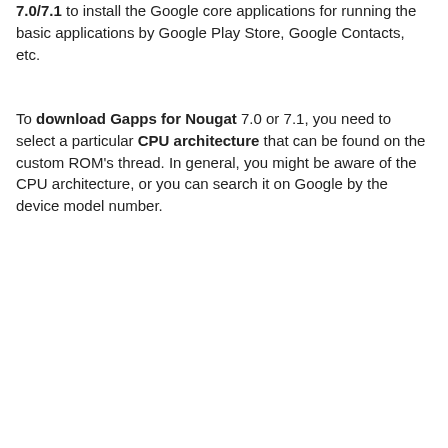7.0/7.1 to install the Google core applications for running the basic applications by Google Play Store, Google Contacts, etc.
To download Gapps for Nougat 7.0 or 7.1, you need to select a particular CPU architecture that can be found on the custom ROM's thread. In general, you might be aware of the CPU architecture, or you can search it on Google by the device model number.